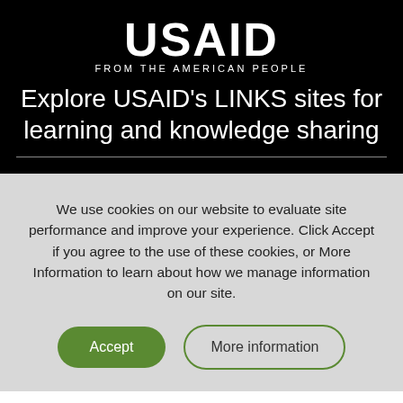[Figure (logo): USAID logo — white bold text 'USAID' with subtitle 'FROM THE AMERICAN PEOPLE' on black background]
Explore USAID's LINKS sites for learning and knowledge sharing
We use cookies on our website to evaluate site performance and improve your experience. Click Accept if you agree to the use of these cookies, or More Information to learn about how we manage information on our site.